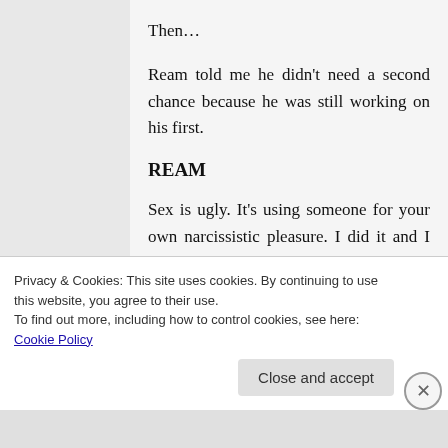Then…
Ream told me he didn't need a second chance because he was still working on his first.
REAM
Sex is ugly. It's using someone for your own narcissistic pleasure. I did it and I hated it—until her. She was unfuckinexpected. Then I had to wreck
Privacy & Cookies: This site uses cookies. By continuing to use this website, you agree to their use.
To find out more, including how to control cookies, see here: Cookie Policy